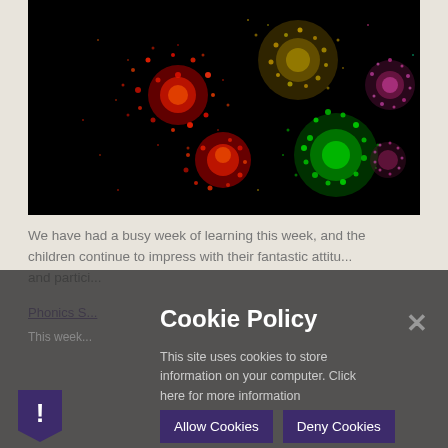[Figure (photo): Fireworks photo showing colorful bursts of red, green, and purple-pink fireworks against a black night sky]
We have had a busy week of learning this week, and the children continue to impress with their fantastic attitude and partici...
Phonics S...
This week...
Cookie Policy
This site uses cookies to store information on your computer. Click here for more information
Allow Cookies
Deny Cookies